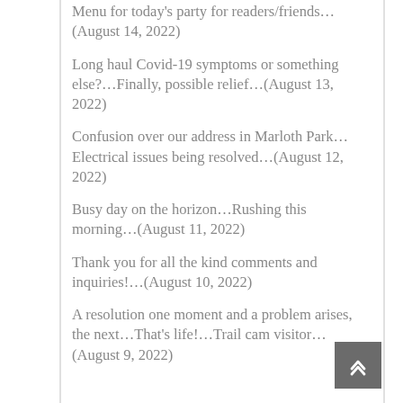Menu for today's party for readers/friends…(August 14, 2022)
Long haul Covid-19 symptoms or something else?…Finally, possible relief…(August 13, 2022)
Confusion over our address in Marloth Park…Electrical issues being resolved…(August 12, 2022)
Busy day on the horizon…Rushing this morning…(August 11, 2022)
Thank you for all the kind comments and inquiries!…(August 10, 2022)
A resolution one moment and a problem arises, the next…That's life!…Trail cam visitor…(August 9, 2022)